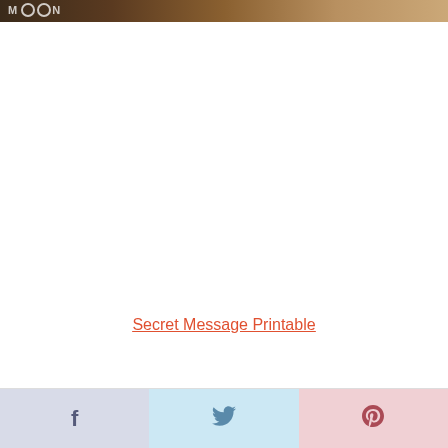[Figure (photo): Dark brown banner/header image with MOON logo text in white letters at the top left. The background transitions from dark brown on the left to lighter tan/beige on the right.]
Secret Message Printable
[Figure (other): Social sharing bar with three buttons: Facebook (blue-grey), Twitter (light blue), Pinterest (pink/rose). Each button shows its respective icon.]